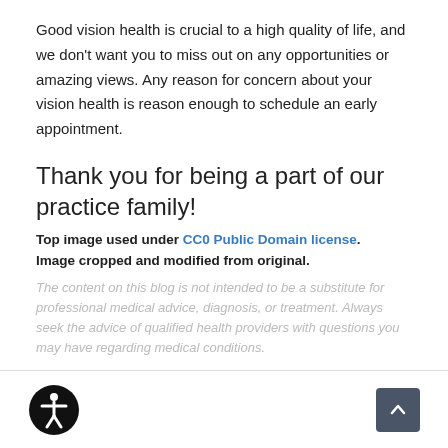Good vision health is crucial to a high quality of life, and we don't want you to miss out on any opportunities or amazing views. Any reason for concern about your vision health is reason enough to schedule an early appointment.
Thank you for being a part of our practice family!
Top image used under CC0 Public Domain license. Image cropped and modified from original.
The content on this blog is not intended to be a substitute for professional medical advice, diagnosis, or treatment. Always seek the advice of qualified health providers with questions you may have regarding medical conditions.